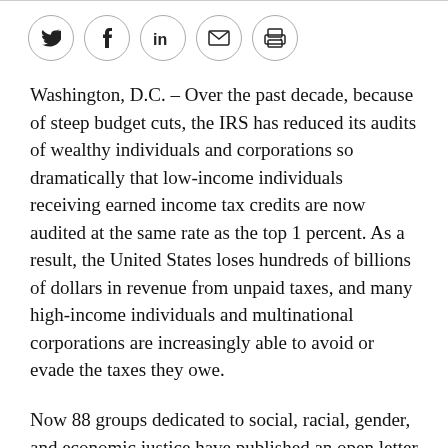[Figure (other): Social sharing icons row: Twitter (bird), Facebook (f), LinkedIn (in), Email (envelope), Print (printer) — each in a circular bordered button]
Washington, D.C. – Over the past decade, because of steep budget cuts, the IRS has reduced its audits of wealthy individuals and corporations so dramatically that low-income individuals receiving earned income tax credits are now audited at the same rate as the top 1 percent. As a result, the United States loses hundreds of billions of dollars in revenue from unpaid taxes, and many high-income individuals and multinational corporations are increasingly able to avoid or evade the taxes they owe.
Now 88 groups dedicated to social, racial, gender, and economic justice have published an open letter to President Joe Biden and the new Congress to urge them